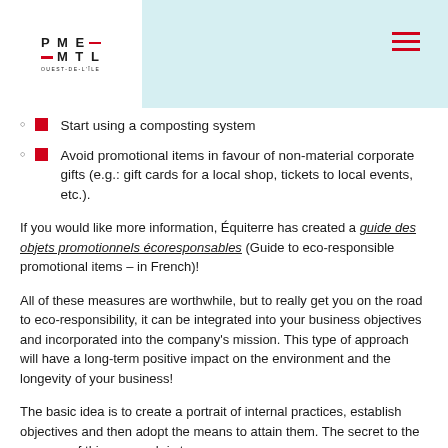PME MTL OUEST-DE-L'ÎLE
Start using a composting system
Avoid promotional items in favour of non-material corporate gifts (e.g.: gift cards for a local shop, tickets to local events, etc.).
If you would like more information, Équiterre has created a guide des objets promotionnels écoresponsables (Guide to eco-responsible promotional items – in French)!
All of these measures are worthwhile, but to really get you on the road to eco-responsibility, it can be integrated into your business objectives and incorporated into the company's mission. This type of approach will have a long-term positive impact on the environment and the longevity of your business!
The basic idea is to create a portrait of internal practices, establish objectives and then adopt the means to attain them. The secret to the success of this approach is to